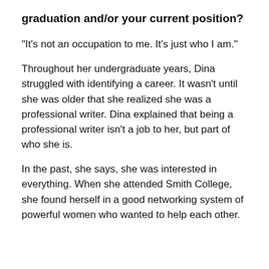graduation and/or your current position?
“It’s not an occupation to me. It’s just who I am.”
Throughout her undergraduate years, Dina struggled with identifying a career. It wasn’t until she was older that she realized she was a professional writer. Dina explained that being a professional writer isn’t a job to her, but part of who she is.
In the past, she says, she was interested in everything. When she attended Smith College, she found herself in a good networking system of powerful women who wanted to help each other.